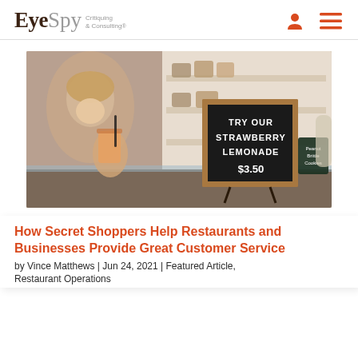EyeSpy Critiquing & Consulting®
[Figure (photo): A smiling restaurant worker holding an iced drink toward the camera, with a chalkboard sign reading 'TRY OUR STRAWBERRY LEMONADE $3.50' and shelves of products in the background.]
How Secret Shoppers Help Restaurants and Businesses Provide Great Customer Service
by Vince Matthews | Jun 24, 2021 | Featured Article, Restaurant Operations